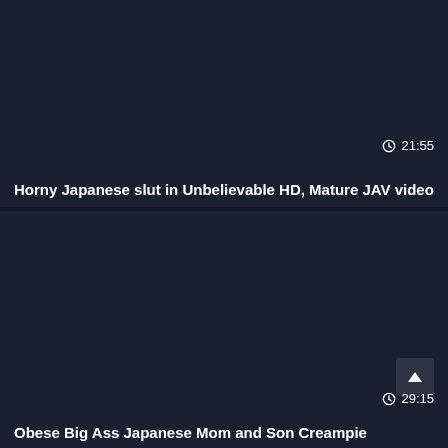[Figure (screenshot): Dark navy video thumbnail placeholder for first video card]
21:55
Horny Japanese slut in Unbelievable HD, Mature JAV video
[Figure (screenshot): Dark navy video thumbnail placeholder for second video card]
29:15
Obese Big Ass Japanese Mom and Son Creampie